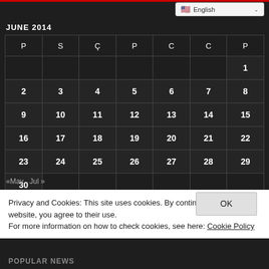English (language selector)
JUNE 2014
| P | S | Ç | P | C | C | P |
| --- | --- | --- | --- | --- | --- | --- |
|  |  |  |  |  |  | 1 |
| 2 | 3 | 4 | 5 | 6 | 7 | 8 |
| 9 | 10 | 11 | 12 | 13 | 14 | 15 |
| 16 | 17 | 18 | 19 | 20 | 21 | 22 |
| 23 | 24 | 25 | 26 | 27 | 28 | 29 |
| 30 |  |  |  |  |  |  |
«May   Jul »
Privacy and Cookies: This site uses cookies. By continuing to use this website, you agree to their use.
For more information on how to check cookies, see here: Cookie Policy
POPULAR NEWS